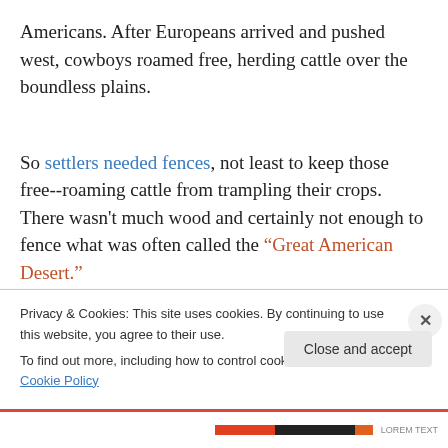Americans. After Europeans arrived and pushed west, cowboys roamed free, herding cattle over the boundless plains.
So settlers needed fences, not least to keep those free--roaming cattle from trampling their crops. There wasn't much wood and certainly not enough to fence what was often called the “Great American Desert.”
Privacy & Cookies: This site uses cookies. By continuing to use this website, you agree to their use.
To find out more, including how to control cookies, see here: Cookie Policy